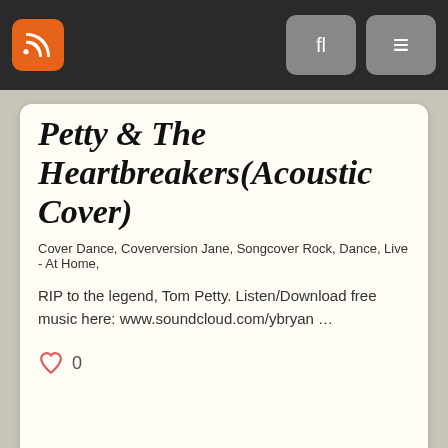Navigation bar with RSS icon, search button, and menu button
Petty & The Heartbreakers(Acoustic Cover)
Cover Dance, Coverversion Jane, Songcover Rock, Dance, Live - At Home,
RIP to the legend, Tom Petty. Listen/Download free music here: www.soundcloud.com/ybryan …
0
[Figure (photo): Thumbnail image of a person playing music, with black bars on left and right sides (letterboxed video thumbnail)]